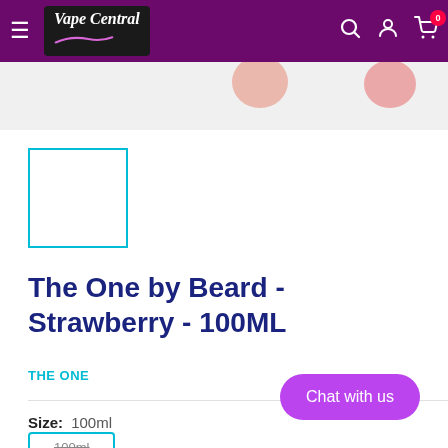Vape Central
[Figure (photo): Product image strip showing vape bottles on white/light background]
[Figure (photo): Small selected product thumbnail with cyan/teal border]
The One by Beard - Strawberry - 100ML
THE ONE
Size: 100ml
100ml
Chat with us